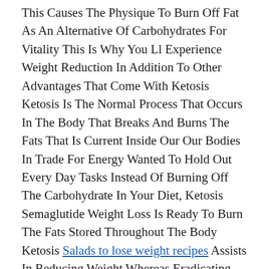This Causes The Physique To Burn Off Fat As An Alternative Of Carbohydrates For Vitality This Is Why You Ll Experience Weight Reduction In Addition To Other Advantages That Come With Ketosis Ketosis Is The Normal Process That Occurs In The Body That Breaks And Burns The Fats That Is Current Inside Our Our Bodies In Trade For Energy Wanted To Hold Out Every Day Tasks Instead Of Burning Off The Carbohydrate In Your Diet, Ketosis Semaglutide Weight Loss Is Ready To Burn The Fats Stored Throughout The Body Ketosis Salads to lose weight recipes Assists In Reducing Weight Whereas Eradicating Important Carbs In Your Physique.
Even Eating Egg Whites Without Yolks Easiest Keto Diet To Follow Significantly Spikes Insulin Fatty Cuts Of Beef, Chicken Easiest Keto Diet To Follow With Pores And Skin, Fattier Cuts Of Beef, Lamb, And Sport Everything You